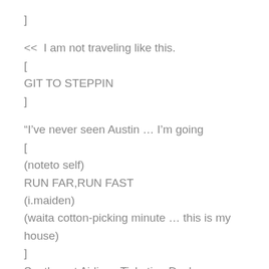]
<<  I am not traveling like this.
[
GIT TO STEPPIN
]
“I’ve never seen Austin … I’m going
[
(noteto self)
RUN FAR,RUN FAST
(i.maiden)
(waita cotton-picking minute … this is my house)
]
Southwest Airlines Ticketing Desk
“Asshole
“You’re not trying to make this work.
“You’ve never taken responsibility for anything in